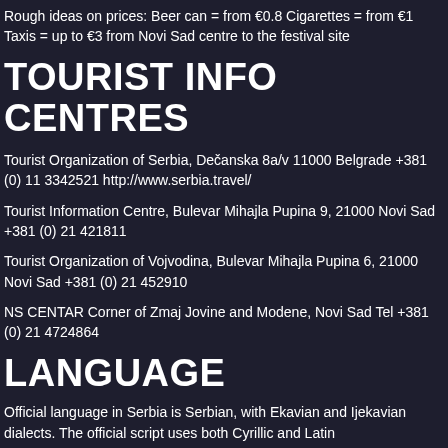Rough ideas on prices: Beer can = from €0.8 Cigarettes = from €1 Taxis = up to €3 from Novi Sad centre to the festival site
TOURIST INFO CENTRES
Tourist Organization of Serbia, Dečanska 8a/v 11000 Belgrade +381 (0) 11 3342521 http://www.serbia.travel/
Tourist Information Centre, Bulevar Mihajla Pupina 9, 21000 Novi Sad +381 (0) 21 421811
Tourist Organization of Vojvodina, Bulevar Mihajla Pupina 6, 21000 Novi Sad +381 (0) 21 452910
NS CENTAR Corner of Zmaj Jovine and Modene, Novi Sad Tel +381 (0) 21 4724864
LANGUAGE
Official language in Serbia is Serbian, with Ekavian and Ijekavian dialects. The official script uses both Cyrillic and Latin